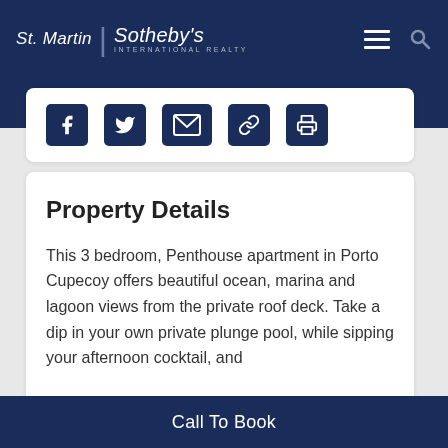St. Martin | Sotheby's International Realty
[Figure (other): Social media share icons: Facebook, Twitter, Email, Link, Print — displayed in a white rounded card]
Property Details
This 3 bedroom, Penthouse apartment in Porto Cupecoy offers beautiful ocean, marina and lagoon views from the private roof deck. Take a dip in your own private plunge pool, while sipping your afternoon cocktail, and
Call To Book